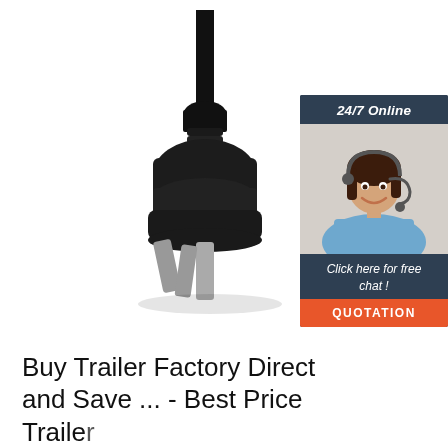[Figure (photo): Black Australian/Chinese style electrical power plug with cable, viewed at an angle showing three flat pins, on white background]
[Figure (infographic): Customer service chat widget with '24/7 Online' header, smiling woman with headset, 'Click here for free chat!' text, and orange QUOTATION button]
Buy Trailer Factory Direct and Save ... - Best Price Trailer